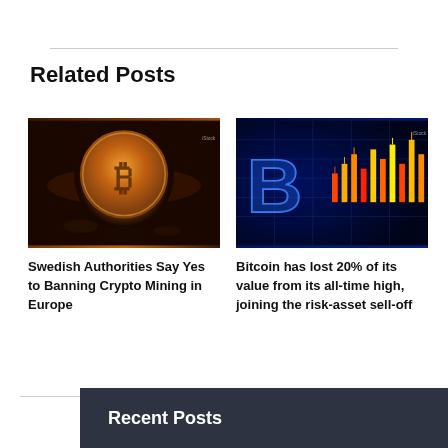Related Posts
[Figure (photo): Gold Bitcoin coin resting on dark surface with warm amber lighting]
Swedish Authorities Say Yes to Banning Crypto Mining in Europe
[Figure (photo): Bitcoin symbol glowing blue on digital stock market chart background with colorful candlesticks]
Bitcoin has lost 20% of its value from its all-time high, joining the risk-asset sell-off
Recent Posts